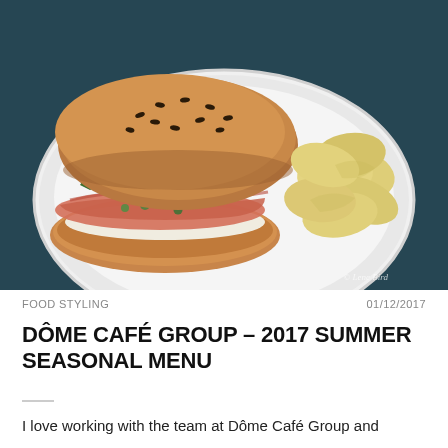[Figure (photo): A sesame seed bagel sandwich filled with smoked salmon, red onion slices, capers, lettuce and greens, with a side of potato chips, served on a white plate. Dark teal background. Watermark reads '© Lene Bird' in bottom right corner.]
FOOD STYLING
01/12/2017
DÔME CAFÉ GROUP – 2017 SUMMER SEASONAL MENU
I love working with the team at Dôme Café Group and